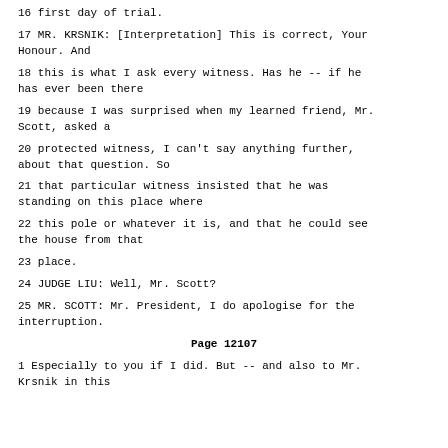16 first day of trial.
17 MR. KRSNIK: [Interpretation] This is correct, Your Honour. And
18 this is what I ask every witness. Has he -- if he has ever been there
19 because I was surprised when my learned friend, Mr. Scott, asked a
20 protected witness, I can't say anything further, about that question. So
21 that particular witness insisted that he was standing on this place where
22 this pole or whatever it is, and that he could see the house from that
23 place.
24 JUDGE LIU: Well, Mr. Scott?
25 MR. SCOTT: Mr. President, I do apologise for the interruption.
Page 12107
1 Especially to you if I did. But -- and also to Mr. Krsnik in this